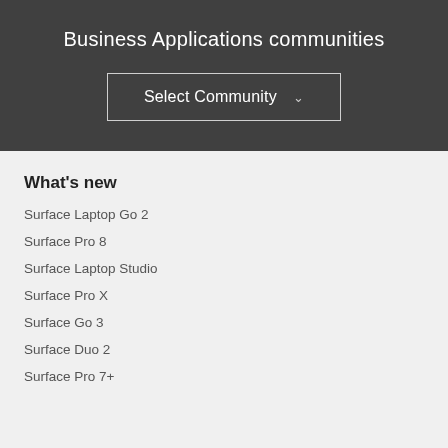Business Applications communities
Select Community
What's new
Surface Laptop Go 2
Surface Pro 8
Surface Laptop Studio
Surface Pro X
Surface Go 3
Surface Duo 2
Surface Pro 7+